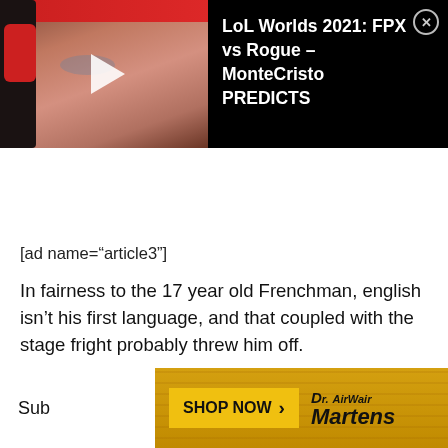[Figure (screenshot): Video thumbnail showing a man with red headphones, with play button overlay, next to text on black background reading 'LoL Worlds 2021: FPX vs Rogue - MonteCristo PREDICTS' with a close (X) button]
[ad name="article3"]
In fairness to the 17 year old Frenchman, english isn't his first language, and that coupled with the stage fright probably threw him off.
[Figure (screenshot): Dr. Martens advertisement banner with yellow/gold striped background, 'SHOP NOW >' button in center, Dr. Martens logo on right, and partial text 'Sub' on left side]